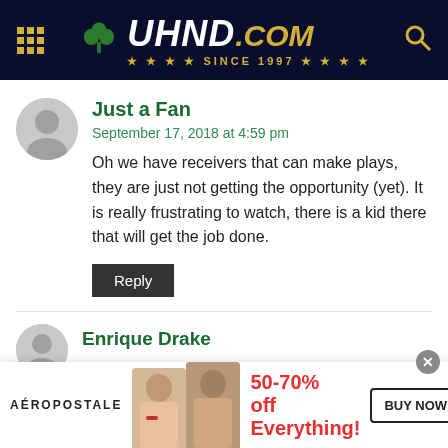[Figure (logo): UHND.com website header with shamrock logo, grid icon, search icon, and 'SINCE 1997' tagline on dark navy background]
Just a Fan
September 17, 2018 at 4:59 pm
Oh we have receivers that can make plays, they are just not getting the opportunity (yet). It is really frustrating to watch, there is a kid there that will get the job done.
Reply
Enrique Drake
[Figure (photo): Aeropostale advertisement banner showing two female models, 50-70% off Everything!, BUY NOW button]